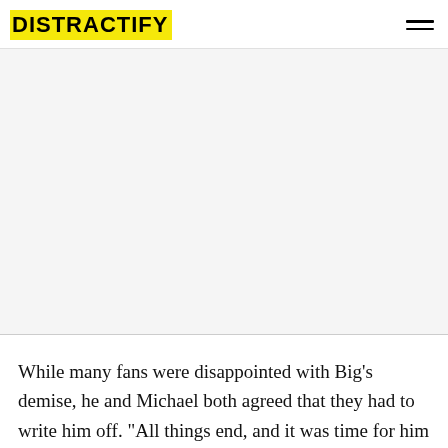DISTRACTIFY
[Figure (other): Advertisement placeholder area (gray/white rectangle)]
While many fans were disappointed with Big's demise, he and Michael both agreed that they had to write him off. "All things end, and it was time for him to go, unless we're